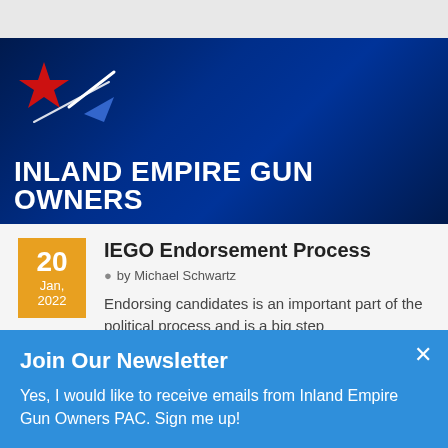[Figure (logo): Inland Empire Gun Owners logo banner with star and rifle graphic on dark blue gradient background, white bold text reading INLAND EMPIRE GUN OWNERS]
IEGO Endorsement Process
by Michael Schwartz
Endorsing candidates is an important part of the political process and is a big step
Join Our Newsletter
Yes, I would like to receive emails from Inland Empire Gun Owners PAC. Sign me up!